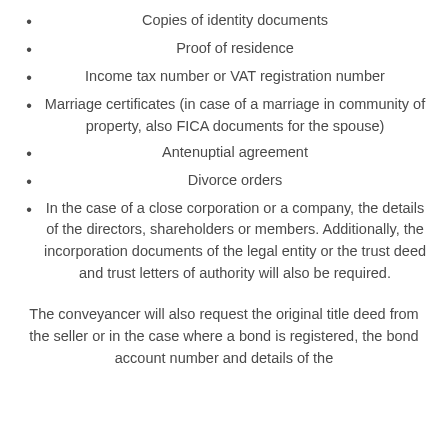Copies of identity documents
Proof of residence
Income tax number or VAT registration number
Marriage certificates (in case of a marriage in community of property, also FICA documents for the spouse)
Antenuptial agreement
Divorce orders
In the case of a close corporation or a company, the details of the directors, shareholders or members. Additionally, the incorporation documents of the legal entity or the trust deed and trust letters of authority will also be required.
The conveyancer will also request the original title deed from the seller or in the case where a bond is registered, the bond account number and details of the